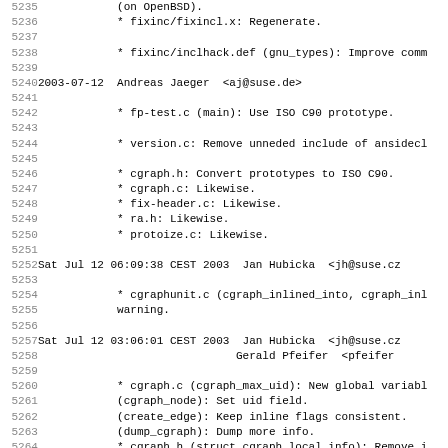Code/changelog listing lines 5235–5266 from a GCC ChangeLog file
| line | content |
| --- | --- |
| 5235 |             (on OpenBSD). |
| 5236 |             * fixinc/fixincl.x: Regenerate. |
| 5237 |  |
| 5238 |             * fixinc/inclhack.def (gnu_types): Improve comm |
| 5239 |  |
| 5240 | 2003-07-12  Andreas Jaeger  <aj@suse.de> |
| 5241 |  |
| 5242 |             * fp-test.c (main): Use ISO C90 prototype. |
| 5243 |  |
| 5244 |             * version.c: Remove unneded include of ansidecl |
| 5245 |  |
| 5246 |             * cgraph.h: Convert prototypes to ISO C90. |
| 5247 |             * cgraph.c: Likewise. |
| 5248 |             * fix-header.c: Likewise. |
| 5249 |             * ra.h: Likewise. |
| 5250 |             * protoize.c: Likewise. |
| 5251 |  |
| 5252 | Sat Jul 12 06:09:38 CEST 2003  Jan Hubicka  <jh@suse.cz |
| 5253 |  |
| 5254 |             * cgraphunit.c (cgraph_inlined_into, cgraph_inl |
| 5255 |             warning. |
| 5256 |  |
| 5257 | Sat Jul 12 03:06:01 CEST 2003  Jan Hubicka  <jh@suse.cz |
| 5258 |                                               Gerald Pfeifer  <pfeifer |
| 5259 |  |
| 5260 |             * cgraph.c (cgraph_max_uid): New global variabl |
| 5261 |             (cgraph_node): Set uid field. |
| 5262 |             (create_edge): Keep inline flags consistent. |
| 5263 |             (dump_cgraph): Dump more info. |
| 5264 |             * cgraph.h (struct cgraph_local_info): Remove i |
| 5265 |             can_inline_once; add inlinable, disgread_inline |
| 5266 |             (struct cgraph_global_info): Add insns, calls, |